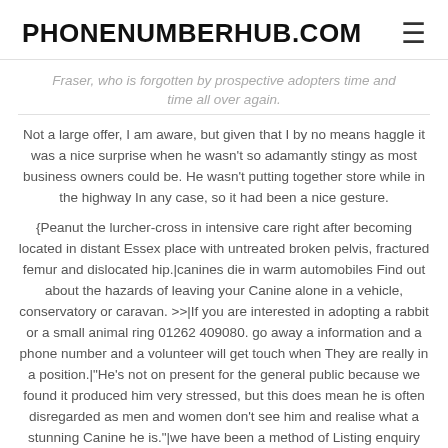PHONENUMBERHUB.COM
Fraser, who is forgotten by prospective adopters time and time all over again.
Not a large offer, I am aware, but given that I by no means haggle it was a nice surprise when he wasn't so adamantly stingy as most business owners could be. He wasn't putting together store while in the highway In any case, so it had been a nice gesture.
{Peanut the lurcher-cross in intensive care right after becoming located in distant Essex place with untreated broken pelvis, fractured femur and dislocated hip.|canines die in warm automobiles Find out about the hazards of leaving your Canine alone in a vehicle, conservatory or caravan. >>|If you are interested in adopting a rabbit or a small animal ring 01262 409080. go away a information and a phone number and a volunteer will get touch when They are really in a position.|"He's not on present for the general public because we found it produced him very stressed, but this does mean he is often disregarded as men and women don't see him and realise what a stunning Canine he is."|we have been a method of Listing enquiry service and we demand for the support we provide which consists of immediately delivering the precise number looked for along with an built-in relationship